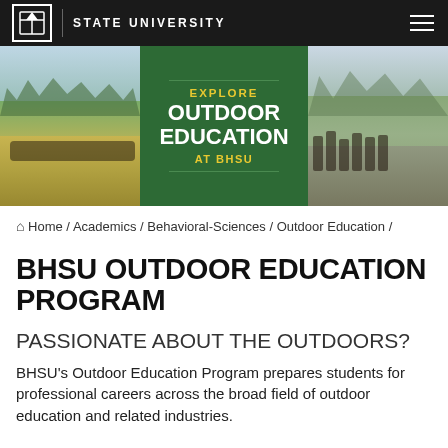BLACK HILLS STATE UNIVERSITY
[Figure (photo): Hero banner with three panels: left shows students sitting in an outdoor meadow with mountains and trees in background; center is a green panel with text 'EXPLORE OUTDOOR EDUCATION AT BHSU'; right shows a group of hikers with backpacks and trekking poles on a rocky trail.]
Home / Academics / Behavioral-Sciences / Outdoor Education /
BHSU OUTDOOR EDUCATION PROGRAM
PASSIONATE ABOUT THE OUTDOORS?
BHSU's Outdoor Education Program prepares students for professional careers across the broad field of outdoor education and related industries.